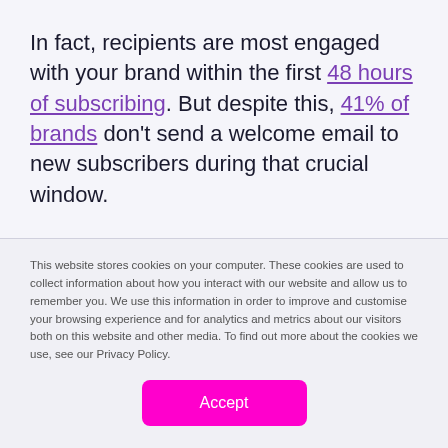In fact, recipients are most engaged with your brand within the first 48 hours of subscribing. But despite this, 41% of brands don't send a welcome email to new subscribers during that crucial window.
To make sure your brand isn't missing out, create welcome emails to be sent out whenever a
This website stores cookies on your computer. These cookies are used to collect information about how you interact with our website and allow us to remember you. We use this information in order to improve and customise your browsing experience and for analytics and metrics about our visitors both on this website and other media. To find out more about the cookies we use, see our Privacy Policy.
Accept